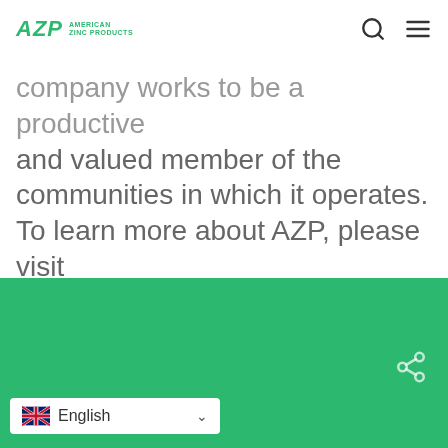AZP American Zinc Products
company works to be a productive and valued member of the communities in which it operates. To learn more about AZP, please visit www.americanzincproducts.com.
[Figure (other): Green footer bar with share icon and English language selector]